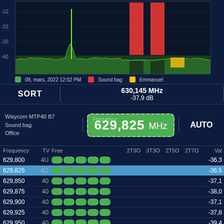[Figure (continuous-plot): RF spectrum analyzer display showing signal strength in dB vs frequency around 629-630 MHz. Green waveform baseline around -40dB with sharp green spike around -20dB at lower frequency. Two tall red bars representing 'Sound bag' device. Yellow/gold segment representing 'Emmanuel'. Legend shows: green=08, mars, 2022 12:02 PM, red=Sound bag, yellow=Emmanuel]
08, mars, 2022 12:02 PM | Sound bag | Emmanuel
SORT | 630,145 MHz | -37,9 dB
Wisycom MTP40 B7
Sound bag
Office
Frequency: 629,825 MHz
AUTO
| Frequency |  | TV | Free | 2T3O | 3T3O | 2T5O | 2T7O | Val |
| --- | --- | --- | --- | --- | --- | --- | --- | --- |
| 629,800 |  | 4U | ● | ● | ● | ● | ● | -36,3 |
| 629,825 |  | 4O | ● | ● | ● | ● | ● | -36,5 |
| 629,850 |  | 40 | ● | ● | ● | ● | ● | -37,1 |
| 629,875 |  | 40 | ● | ● | ● | ● | ● | -38,0 |
| 629,900 |  | 40 | ● | ● | ● | ● | ● | -37,1 |
| 629,925 |  | 40 | ● | ● | ● | ● | ● | -37,8 |
| 629,950 |  | 40 | ● | ● | ● | ● | ● | -39,4 |
| 629,975 |  | 40 | ● | ● | ◑ | ● | ● | -38,2 |
| 630,000 |  | 40 | ● | ● | ◑ | ● | ● | -34,6 |
| 630,025 |  | 40 | ● | ● | ◑ | ● | ● | -39,6 |
| 630,050 |  | 40 | ● | ● | ◑ | ● | ● | -37,3 |